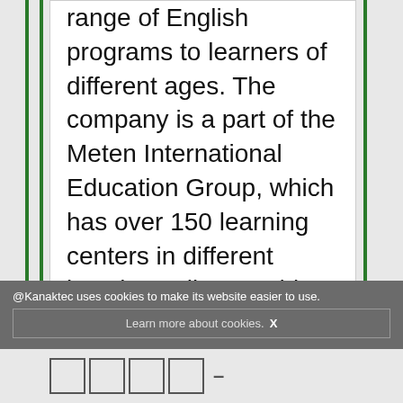range of English programs to learners of different ages. The company is a part of the Meten International Education Group, which has over 150 learning centers in different locations all over China. Similar to other English teaching companies, LikeShuo also teaches English to young learners.
@Kanaktec uses cookies to make its website easier to use. Learn more about cookies. X